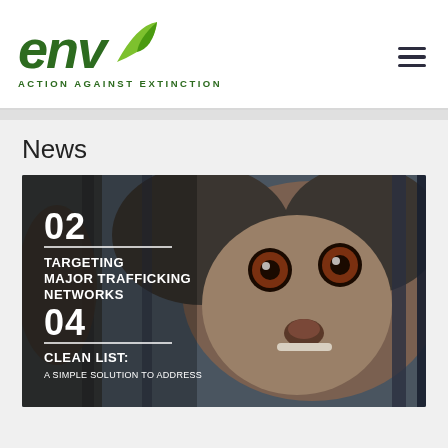env ACTION AGAINST EXTINCTION
News
[Figure (photo): Close-up photo of a wild animal (civet cat) looking through cage bars, with white overlay text reading: 02 TARGETING MAJOR TRAFFICKING NETWORKS and 04 CLEAN LIST: A SIMPLE SOLUTION TO ADDRESS]